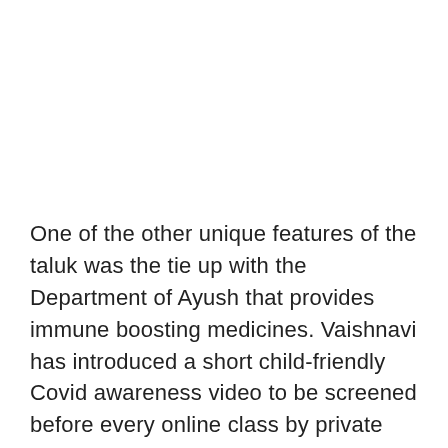One of the other unique features of the taluk was the tie up with the Department of Ayush that provides immune boosting medicines. Vaishnavi has introduced a short child-friendly Covid awareness video to be screened before every online class by private schools. The two-minute video has medical officer Neetha Reddy of Haragadde Primary Health Centre (PHC) explaining the need to adopt Covid appropriate behaviour and facts about the virus.